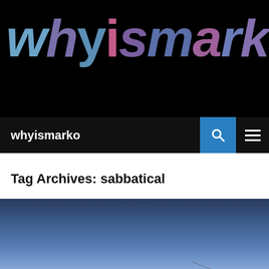[Figure (logo): whyismarko website logo — large colorful text on black background, letters in various shades of blue, purple, and pink]
whyismarko
Tag Archives: sabbatical
[Figure (photo): Landscape photo showing a twilight/dusk sky in shades of blue over dark mountain silhouettes]